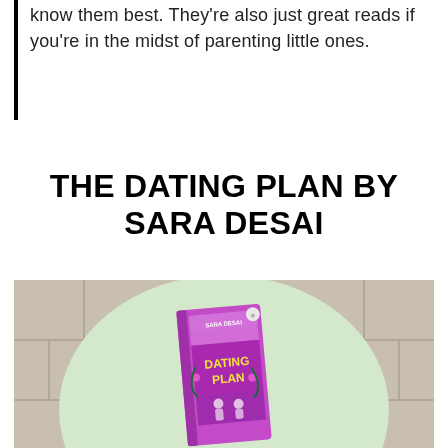know them best. They're also just great reads if you're in the midst of parenting little ones.
THE DATING PLAN BY SARA DESAI
[Figure (photo): A photo of the book 'Dating Plan' by Sara Desai with a purple cover, placed on a round light green plate on a tiled surface.]